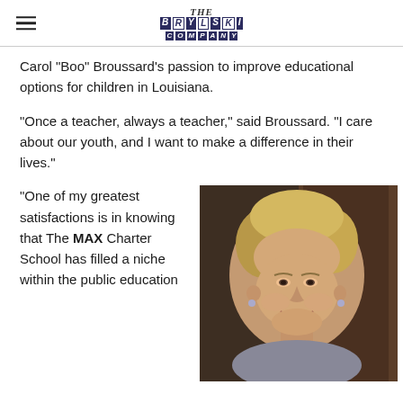THE BRYLSKI COMPANY
Carol "Boo" Broussard's passion to improve educational options for children in Louisiana.
“Once a teacher, always a teacher,” said Broussard. “I care about our youth, and I want to make a difference in their lives.”
“One of my greatest satisfactions is in knowing that The MAX Charter School has filled a niche within the public education
[Figure (photo): Portrait photo of Carol 'Boo' Broussard, a woman with short blonde hair, smiling, wearing earrings, photographed outdoors or near a warm-toned background.]